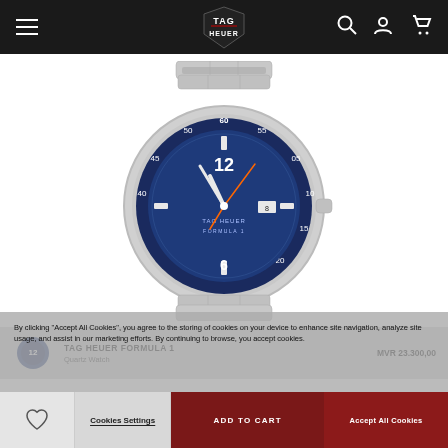TAG HEUER navigation bar with hamburger menu, logo, search, account, and cart icons
[Figure (photo): TAG Heuer Formula 1 watch with blue dial and stainless steel bracelet, displayed on white background]
TAG HEUER FORMULA 1
Quartz Watch
MVR 23.300,00
By clicking "Accept All Cookies", you agree to the storing of cookies on your device to enhance site navigation, analyze site usage, and assist in our marketing efforts. By continuing to browse, you accept cookies.
Cookies Settings
ADD TO CART
Accept All Cookies